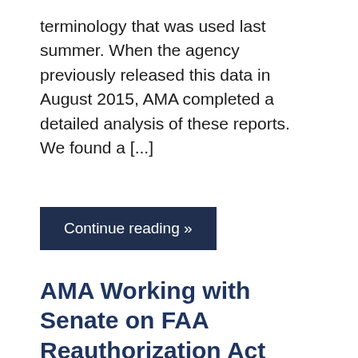terminology that was used last summer. When the agency previously released this data in August 2015, AMA completed a detailed analysis of these reports. We found a [...]
Continue reading »
AMA Working with Senate on FAA Reauthorization Act 2016
March 24, 2016 / AMA Staff / 52 comments
We want to provide you with an update on recent congressional action on the new FAA